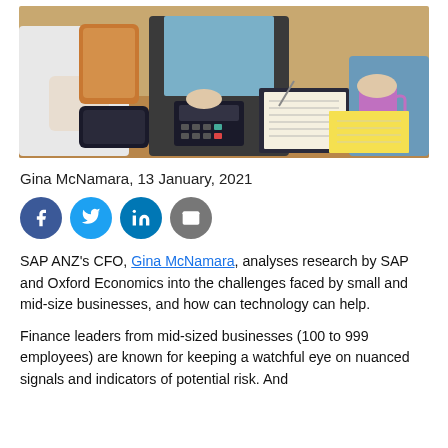[Figure (photo): Two people at a wooden desk, one holding a tablet, another writing in a notebook with a calculator and smartphone on the table, and a third person holding a coffee mug]
Gina McNamara, 13 January, 2021
[Figure (infographic): Social media sharing icons: Facebook, Twitter, LinkedIn, Email]
SAP ANZ's CFO, Gina McNamara, analyses research by SAP and Oxford Economics into the challenges faced by small and mid-size businesses, and how can technology can help.
Finance leaders from mid-sized businesses (100 to 999 employees) are known for keeping a watchful eye on nuanced signals and indicators of potential risk. And